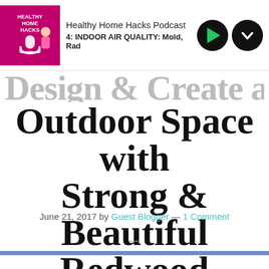[Figure (screenshot): Podcast player bar for Healthy Home Hacks Podcast, episode 4: INDOOR AIR QUALITY: Mold, Rad— with play button and chevron/down button controls]
Outdoor Space with Strong & Beautiful Redwood
June 21, 2017 by Guest Blogger — 1 Comment
—